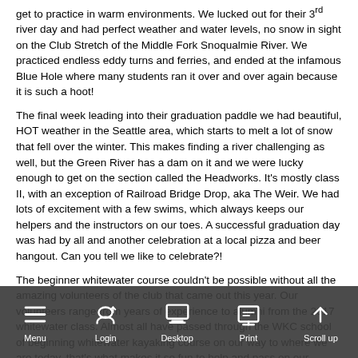get to practice in warm environments.  We lucked out for their 3rd river day and had perfect weather and water levels, no snow in sight on the Club Stretch of the Middle Fork Snoqualmie River.  We practiced endless eddy turns and ferries, and ended at the infamous Blue Hole where many students ran it over and over again because it is such a hoot!
The final week leading into their graduation paddle we had beautiful, HOT weather in the Seattle area, which starts to melt a lot of snow that fell over the winter.  This makes finding a river challenging as well, but the Green River has a dam on it and we were lucky enough to get on the section called the Headworks.  It's mostly class II, with an exception of Railroad Bridge Drop, aka The Weir.  We had lots of excitement with a few swims, which always keeps our helpers and the instructors on our toes.  A successful graduation day was had by all and another celebration at a local pizza and beer hangout.  Can you tell we like to celebrate?!
The beginner whitewater course couldn't be possible without all the amazing volunteers of the club that came out this year.  Our volunteers range from years of experience to alumni from the 2017 whitewater class.  Almost all have passed through the WKC school of beginning whitewater kayaking course on our way to where we are today, that's what makes it so fun to help and pass on our knowledge each year.  There's nothing better than giving back, paying it forward and meeting awesome new boating buddies along the way.
A big shout out to the helpers this year:  Ross Healy, Bryan Fry, Eva Bailey, Tobey Seslar, Jenefer Monroe, Bram Rusk, Jeremy Wells, Zak Wall, Susan Batchelor, Jenn Coe, Science Kilner & Noah Compton.
And our fabulous WKC instructors in the water:  Judi Hatt, Cle Hixon, Anne Brindle, Jon Almquist, John Kelner, Rick Schoen, Chari Coke, Matt S, Nicole LeBlanc & Shanna Garhen.